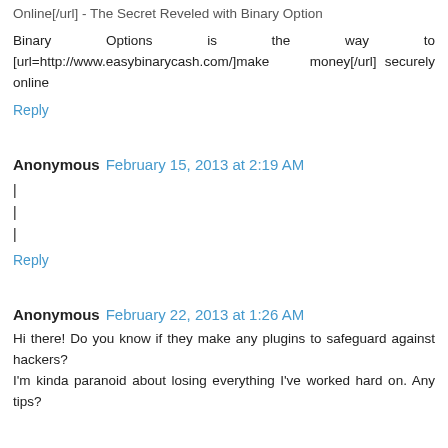Online[/url] - The Secret Reveled with Binary Option
Binary Options is the way to [url=http://www.easybinarycash.com/]make money[/url] securely online
Reply
Anonymous  February 15, 2013 at 2:19 AM
|
|
|
Reply
Anonymous  February 22, 2013 at 1:26 AM
Hi there! Do you know if they make any plugins to safeguard against hackers?
I'm kinda paranoid about losing everything I've worked hard on. Any tips?